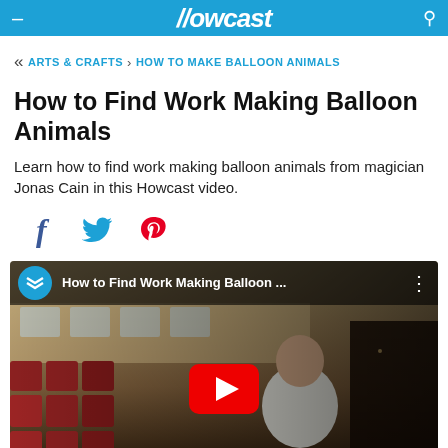Howcast
« ARTS & CRAFTS > HOW TO MAKE BALLOON ANIMALS
How to Find Work Making Balloon Animals
Learn how to find work making balloon animals from magician Jonas Cain in this Howcast video.
[Figure (screenshot): Social sharing icons: Facebook (f), Twitter bird, Pinterest (P)]
[Figure (screenshot): YouTube-style video thumbnail showing a man in a white shirt seated in a theater with red chairs. Overlay shows Howcast logo circle and title 'How to Find Work Making Balloon ...' with a red YouTube play button in the center.]